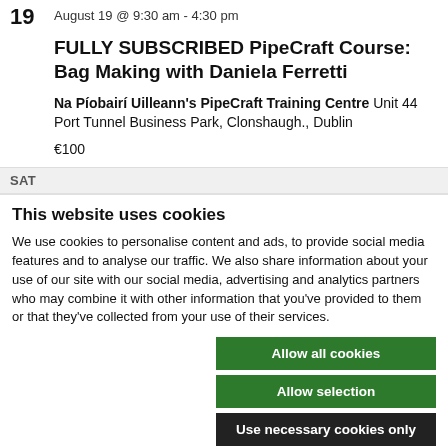19  August 19 @ 9:30 am - 4:30 pm
FULLY SUBSCRIBED PipeCraft Course: Bag Making with Daniela Ferretti
Na Píobairí Uilleann's PipeCraft Training Centre Unit 44 Port Tunnel Business Park, Clonshaugh., Dublin
€100
SAT
This website uses cookies
We use cookies to personalise content and ads, to provide social media features and to analyse our traffic. We also share information about your use of our site with our social media, advertising and analytics partners who may combine it with other information that you've provided to them or that they've collected from your use of their services.
Allow all cookies
Allow selection
Use necessary cookies only
Necessary  Preferences  Statistics  Marketing  Show details